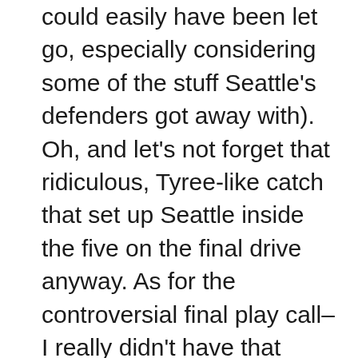could easily have been let go, especially considering some of the stuff Seattle's defenders got away with). Oh, and let's not forget that ridiculous, Tyree-like catch that set up Seattle inside the five on the final drive anyway. As for the controversial final play call–I really didn't have that much of a problem with it. I've seen quick slants inside the 10 work for TDs hundreds of times in the past. Seattle simply didn't execute and the Pats' defense did. After watching the replay of the game, the Pats did stuff Lynch more than once on 3rd and short